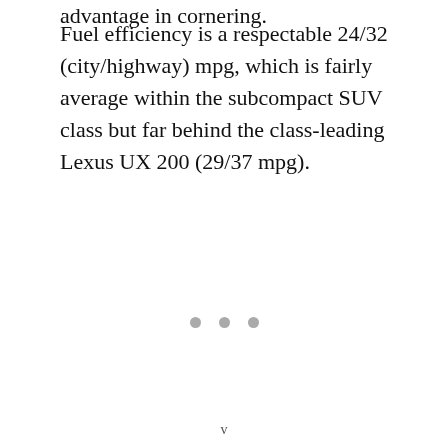advantage in cornering.
Fuel efficiency is a respectable 24/32 (city/highway) mpg, which is fairly average within the subcompact SUV class but far behind the class-leading Lexus UX 200 (29/37 mpg).
[Figure (other): Three gray dots indicating a page break or section separator]
v